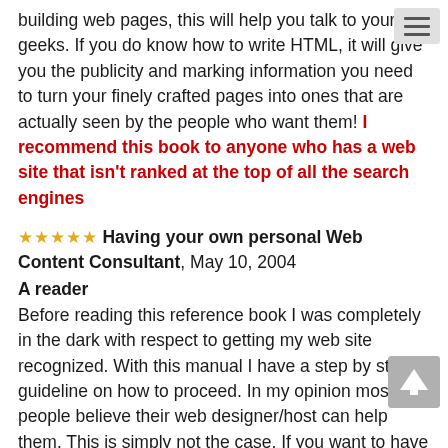building web pages, this will help you talk to your geeks. If you do know how to write HTML, it will give you the publicity and marking information you need to turn your finely crafted pages into ones that are actually seen by the people who want them! I recommend this book to anyone who has a web site that isn't ranked at the top of all the search engines
★★★★★ Having your own personal Web Content Consultant, May 10, 2004
A reader
Before reading this reference book I was completely in the dark with respect to getting my web site recognized. With this manual I have a step by step guideline on how to proceed. In my opinion most people believe their web designer/host can help them. This is simply not the case. If you want to have a reasonable chance of capturing a receptive consumer base for your site this book is a must have.